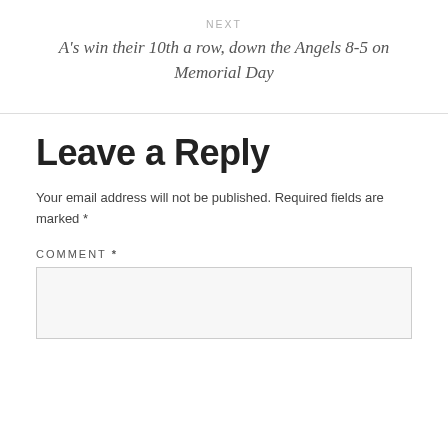NEXT
A's win their 10th a row, down the Angels 8-5 on Memorial Day
Leave a Reply
Your email address will not be published. Required fields are marked *
COMMENT *